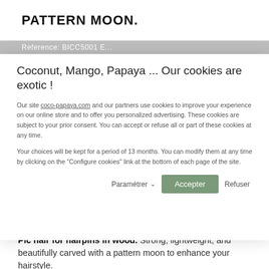PATTERN MOON.
Reference: BICC5001 E...
Coconut, Mango, Papaya ... Our cookies are exotic !
Our site coco-papaya.com and our partners use cookies to improve your experience on our online store and to offer you personalized advertising. These cookies are subject to your prior consent. You can accept or refuse all or part of these cookies at any time.
Your choices will be kept for a period of 13 months. You can modify them at any time by clicking on the "Configure cookies" link at the bottom of each page of the site.
Paramétrer  Accepter  Refuser
Pic hair for hairpins in wood. Strong, lightweight, and beautifully carved with a pattern moon to enhance your hairstyle.